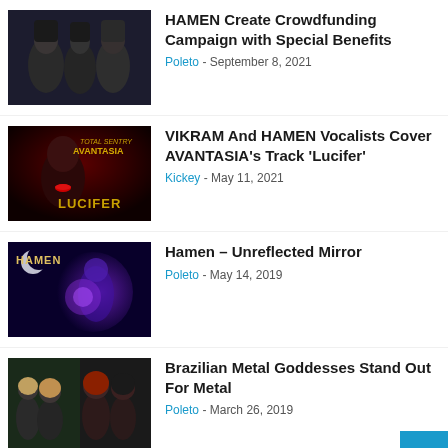[Figure (photo): Band photo of HAMEN members in dark clothing]
HAMEN Create Crowdfunding Campaign with Special Benefits
Poleto - September 8, 2021
[Figure (photo): AVANTASIA Lucifer album artwork cover]
VIKRAM And HAMEN Vocalists Cover AVANTASIA's Track 'Lucifer'
Kickey - May 11, 2021
[Figure (photo): HAMEN band artwork with purple supernatural imagery]
Hamen – Unreflected Mirror
Poleto - May 14, 2019
[Figure (photo): Brazilian metal band group photo]
Brazilian Metal Goddesses Stand Out For Metal
Poleto - March 26, 2019
×